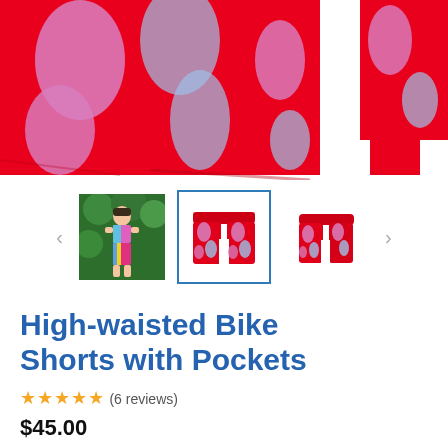[Figure (photo): Main product photo showing close-up of red fabric with pink/lavender abstract print pattern (high-waisted bike shorts fabric detail)]
[Figure (photo): Thumbnail 1: Woman wearing colorful bike shorts and matching top standing outdoors in front of green foliage]
[Figure (photo): Thumbnail 2 (selected, blue border): Red bike shorts with pink/lavender abstract print pattern, front view on white background]
[Figure (photo): Thumbnail 3: Red bike shorts with pink/lavender abstract print pattern, side/back view on white background]
High-waisted Bike Shorts with Pockets
★★★★★ (6 reviews)
$45.00